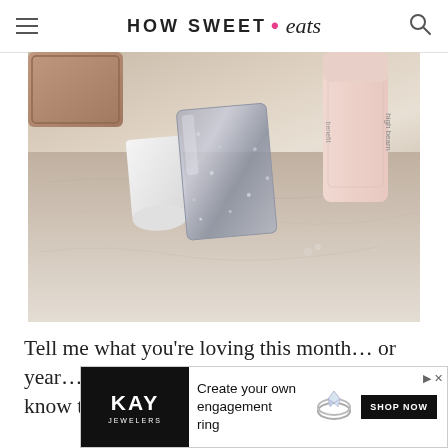HOW SWEET • eats
[Figure (photo): A glittery silver nail polish bottle with a white cap lying on a marble surface, with a Benefit 'High Beam' product in the background and a brown case on the left]
Tell me what you're loving this month... or year... or what you got for Christmas! You know the drill.
[Figure (infographic): Kay Jewelers advertisement: 'Create your own engagement ring' with SHOP NOW button and diamond ring image]